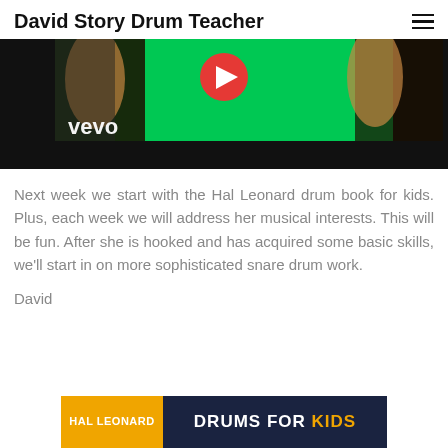David Story Drum Teacher
[Figure (photo): A Vevo music video screenshot showing two people on either side of a green background with a red play button, with the Vevo logo in the lower left.]
Next week we start with the Hal Leonard drum book for kids. Plus, each week we will address her musical interests. This will be fun. After she is hooked and has acquired some basic skills, we'll start in on more sophisticated snare drum work.
David
[Figure (illustration): Hal Leonard Drums for Kids book banner. Left yellow section reads HAL LEONARD, right dark navy section reads DRUMS FOR KIDS with KIDS in orange.]